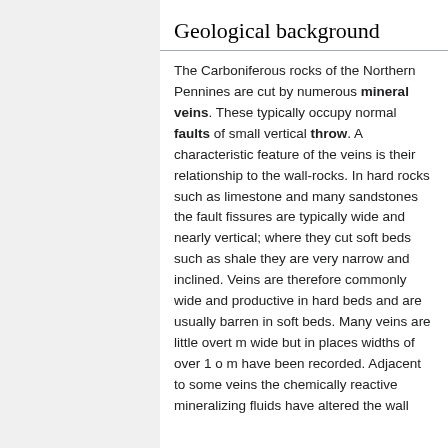Geological background
The Carboniferous rocks of the Northern Pennines are cut by numerous mineral veins. These typically occupy normal faults of small vertical throw. A characteristic feature of the veins is their relationship to the wall-rocks. In hard rocks such as limestone and many sandstones the fault fissures are typically wide and nearly vertical; where they cut soft beds such as shale they are very narrow and inclined. Veins are therefore commonly wide and productive in hard beds and are usually barren in soft beds. Many veins are little overt m wide but in places widths of over 1 o m have been recorded. Adjacent to some veins the chemically reactive mineralizing fluids have altered the wall